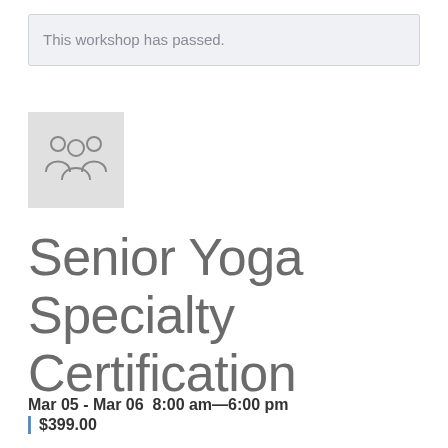This workshop has passed.
[Figure (illustration): Group of people / community icon — three stylized human figures in a light gray square]
Senior Yoga Specialty Certification
Mar 05 - Mar 06  8:00 am—6:00 pm
$399.00